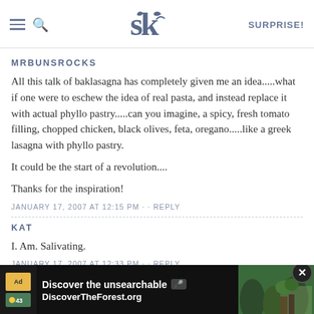SK SURPRISE!
MRBUNSROCKS
All this talk of baklasagna has completely given me an idea.....what if one were to eschew the idea of real pasta, and instead replace it with actual phyllo pastry.....can you imagine, a spicy, fresh tomato filling, chopped chicken, black olives, feta, oregano.....like a greek lasagna with phyllo pastry.
It could be the start of a revolution....
Thanks for the inspiration!
JANUARY 17, 2007 AT 12:15 PM · · REPLY
KAT
I. Am. Salivating.
JANUARY 17, 2007 AT 12:33 PM · · REPLY
[Figure (screenshot): Advertisement banner for DiscoverTheForest.org with forest background image and close button]